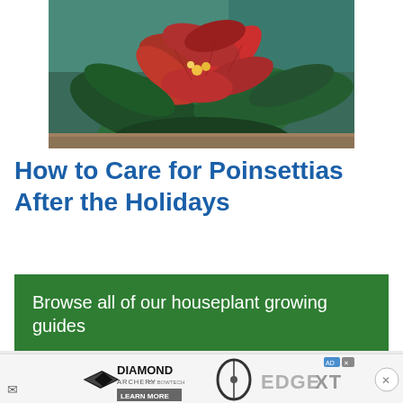[Figure (photo): Close-up photo of red poinsettia plant with bright red leaves and green foliage against a teal/blue-green background]
How to Care for Poinsettias After the Holidays
Browse all of our houseplant growing guides
[Figure (screenshot): Diamond Archery advertisement banner showing EDGE XT bow with logo, LEARN MORE button, ad badge, and close button]